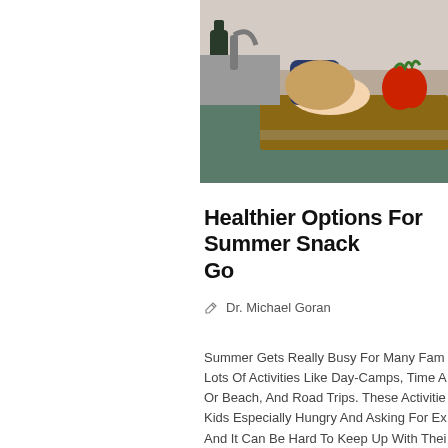[Figure (photo): A child reaching for strawberries on a kitchen counter with a cutting board, kitchen background with bottles and cooking items.]
Healthier Options For Summer Snacks On The Go
Dr. Michael Goran
Summer Gets Really Busy For Many Families With Lots Of Activities Like Day-Camps, Time At The Pool Or Beach, And Road Trips. These Activities Leave Kids Especially Hungry And Asking For Extra Snacks, And It Can Be Hard To Keep Up With Them. Here Are Some Healthier Snack Ideas.